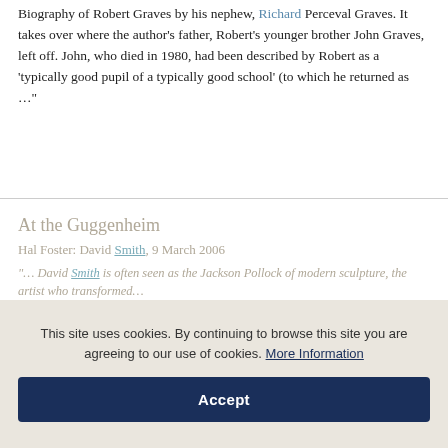Biography of Robert Graves by his nephew, Richard Perceval Graves. It takes over where the author's father, Robert's younger brother John Graves, left off. John, who died in 1980, had been described by Robert as a 'typically good pupil of a typically good school' (to which he returned as …"
At the Guggenheim
Hal Foster: David Smith, 9 March 2006
"… David Smith is often seen as the Jackson Pollock of modern sculpture, the artist who transformed…
This site uses cookies. By continuing to browse this site you are agreeing to our use of cookies. More Information
Accept